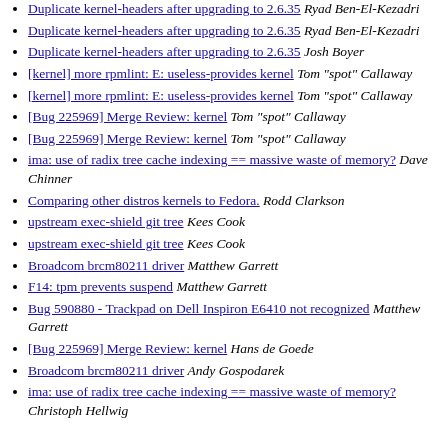Duplicate kernel-headers after upgrading to 2.6.35  Ryad Ben-El-Kezadri
Duplicate kernel-headers after upgrading to 2.6.35  Ryad Ben-El-Kezadri
Duplicate kernel-headers after upgrading to 2.6.35  Josh Boyer
[kernel] more rpmlint: E: useless-provides kernel  Tom "spot" Callaway
[kernel] more rpmlint: E: useless-provides kernel  Tom "spot" Callaway
[Bug 225969] Merge Review: kernel  Tom "spot" Callaway
[Bug 225969] Merge Review: kernel  Tom "spot" Callaway
ima: use of radix tree cache indexing == massive waste of memory?  Dave Chinner
Comparing other distros kernels to Fedora.  Rodd Clarkson
upstream exec-shield git tree  Kees Cook
upstream exec-shield git tree  Kees Cook
Broadcom brcm80211 driver  Matthew Garrett
F14: tpm prevents suspend  Matthew Garrett
Bug 590880 - Trackpad on Dell Inspiron E6410 not recognized  Matthew Garrett
[Bug 225969] Merge Review: kernel  Hans de Goede
Broadcom brcm80211 driver  Andy Gospodarek
ima: use of radix tree cache indexing == massive waste of memory?  Christoph Hellwig